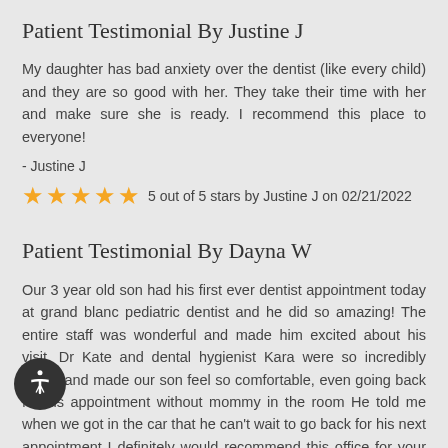Patient Testimonial By Justine J
My daughter has bad anxiety over the dentist (like every child) and they are so good with her. They take their time with her and make sure she is ready. I recommend this place to everyone!
- Justine J
5 out of 5 stars by Justine J on 02/21/2022
Patient Testimonial By Dayna W
Our 3 year old son had his first ever dentist appointment today at grand blanc pediatric dentist and he did so amazing! The entire staff was wonderful and made him excited about his visit. Dr Kate and dental hygienist Kara were so incredibly sweet and made our son feel so comfortable, even going back for his appointment without mommy in the room He told me when we got in the car that he can't wait to go back for his next appointment I definitely would recommend this office for your little ones.